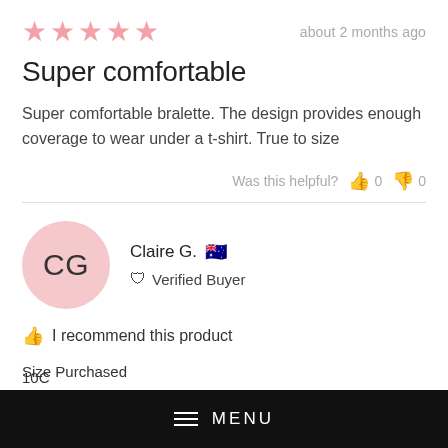[Figure (other): 5 pink stars rating]
about 2 months ago
Super comfortable
Super comfortable bralette. The design provides enough coverage to wear under a t-shirt. True to size
Was this helpful? 0 0
[Figure (other): Reviewer avatar circle with initials CG on pink background]
Claire G. 🇦🇺
✔ Verified Buyer
👍 I recommend this product
Size Purchased
[Figure (screenshot): Black menu bar with hamburger icon and MENU text]
10C